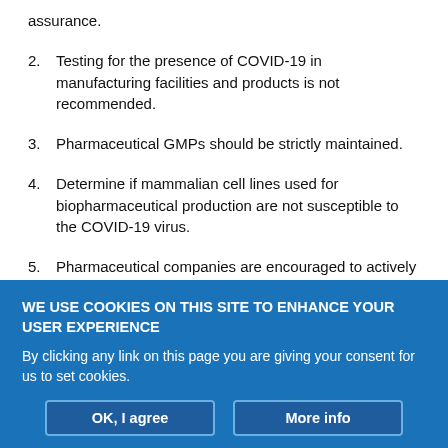assurance.
2. Testing for the presence of COVID-19 in manufacturing facilities and products is not recommended.
3. Pharmaceutical GMPs should be strictly maintained.
4. Determine if mammalian cell lines used for biopharmaceutical production are not susceptible to the COVID-19 virus.
5. Pharmaceutical companies are encouraged to actively monitor recommendations from the U.S. CDC an FDA, the EMA, and the WHO and make changes to their policies and procedures as the COVID-19 pandemic recedes.
WE USE COOKIES ON THIS SITE TO ENHANCE YOUR USER EXPERIENCE
By clicking any link on this page you are giving your consent for us to set cookies.
OK, I agree | More info